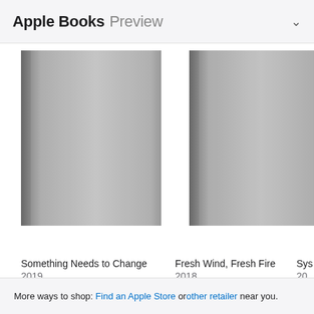Apple Books Preview
[Figure (illustration): Three book covers displayed horizontally. First book (Something Needs to Change, 2019) and second book (Fresh Wind, Fresh Fire, 2018) show gray placeholder covers. Third book (Sys..., 200...) is partially visible with a dark blue cover.]
Something Needs to Change
2019
Fresh Wind, Fresh Fire
2018
Sys
200
More ways to shop: Find an Apple Store or other retailer near you.